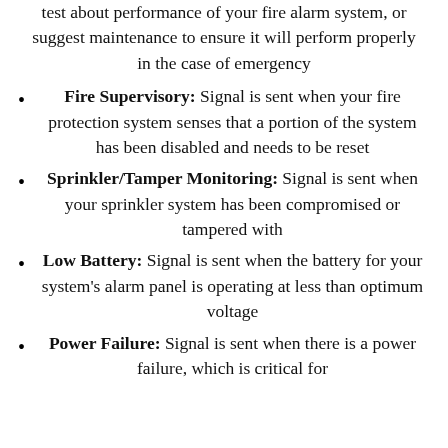test about performance of your fire alarm system, or suggest maintenance to ensure it will perform properly in the case of emergency
Fire Supervisory: Signal is sent when your fire protection system senses that a portion of the system has been disabled and needs to be reset
Sprinkler/Tamper Monitoring: Signal is sent when your sprinkler system has been compromised or tampered with
Low Battery: Signal is sent when the battery for your system's alarm panel is operating at less than optimum voltage
Power Failure: Signal is sent when there is a power failure, which is critical for